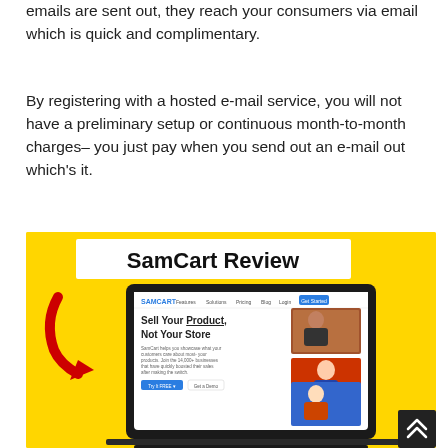emails are sent out, they reach your consumers via email which is quick and complimentary.
By registering with a hosted e-mail service, you will not have a preliminary setup or continuous month-to-month charges– you just pay when you send out an e-mail out which's it.
[Figure (screenshot): SamCart Review promotional image on yellow background featuring a laptop mockup showing the SamCart website with headline 'Sell Your Product, Not Your Store', a red arrow pointing to the laptop, and a scroll-up button in the bottom right corner.]